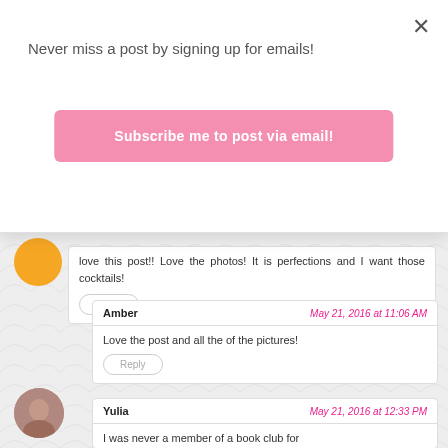Never miss a post by signing up for emails!
Subscribe me to post via email!
love this post!! Love the photos! It is perfections and I want those cocktails!
Reply
Amber · May 21, 2016 at 11:06 AM
Love the post and all the of the pictures!
Reply
Yulia · May 21, 2016 at 12:33 PM
I was never a member of a book club for...